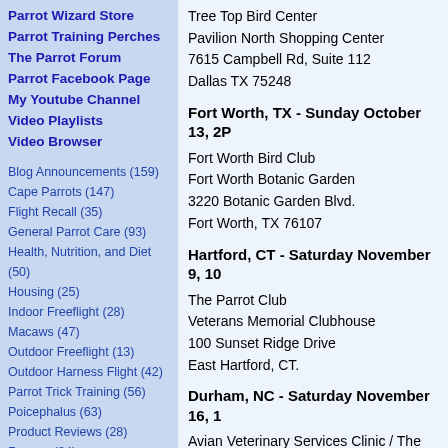Parrot Wizard Store
Parrot Training Perches
The Parrot Forum
Parrot Facebook Page
My Youtube Channel
Video Playlists
Video Browser
Blog Announcements (159)
Cape Parrots (147)
Flight Recall (35)
General Parrot Care (93)
Health, Nutrition, and Diet (50)
Housing (25)
Indoor Freeflight (28)
Macaws (47)
Outdoor Freeflight (13)
Outdoor Harness Flight (42)
Parrot Trick Training (56)
Poicephalus (63)
Product Reviews (28)
Rescue (24)
Senegal Parrots (133)
Taming & Basic Training (94)
Toys, Accessories, and DIY (27)
Tree Top Bird Center
Pavilion North Shopping Center
7615 Campbell Rd, Suite 112
Dallas TX 75248
Fort Worth, TX - Sunday October 13, 2P
Fort Worth Bird Club
Fort Worth Botanic Garden
3220 Botanic Garden Blvd.
Fort Worth, TX 76107
Hartford, CT - Saturday November 9, 10
The Parrot Club
Veterans Memorial Clubhouse
100 Sunset Ridge Drive
East Hartford, CT.
Durham, NC - Saturday November 16, 1
Avian Veterinary Services Clinic / The Bird
Hope Valley Elementary School Auditorium
3005 Dixon Rd
Durham, NC 27707